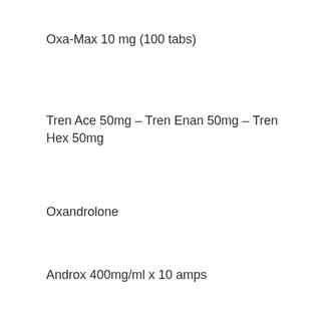Oxa-Max 10 mg (100 tabs)
Tren Ace 50mg – Tren Enan 50mg – Tren Hex 50mg
Oxandrolone
Androx 400mg/ml x 10 amps